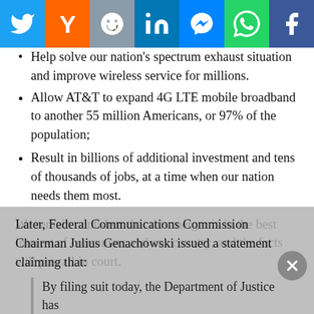[Figure (other): Social media sharing bar with Twitter, Hacker News (Y), Reddit, LinkedIn, Messenger, WhatsApp, and Facebook buttons]
Help solve our nation's spectrum exhaust situation and improve wireless service for millions.
Allow AT&T to expand 4G LTE mobile broadband to another 55 million Americans, or 97% of the population;
Result in billions of additional investment and tens of thousands of jobs, at a time when our nation needs them most.
We remain confident that this merger is in the best interest of consumers and our country, and the facts will prevail in court.
Later, Federal Communications Commission Chairman Julius Genachowski issued a statement claiming that:
By filing suit today, the Department of Justice has